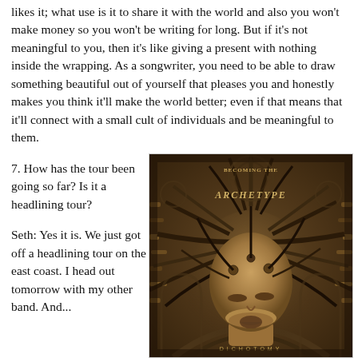likes it; what use is it to share it with the world and also you won't make money so you won't be writing for long. But if it's not meaningful to you, then it's like giving a present with nothing inside the wrapping. As a songwriter, you need to be able to draw something beautiful out of yourself that pleases you and honestly makes you think it'll make the world better; even if that means that it'll connect with a small cult of individuals and be meaningful to them.
7. How has the tour been going so far? Is it a headlining tour?
Seth: Yes it is. We just got off a headlining tour on the east coast. I head out tomorrow with my other band. And...
[Figure (illustration): Album cover art for 'Becoming the Archetype - Dichotomy'. Dark fantasy illustration of a human figure with mechanical/organic cables and machinery around the head, tilted back with mouth open, rendered in sepia/brown tones. Band name 'Becoming the Archetype' in ornate text at top, 'DICHOTOMY' in small text at bottom.]